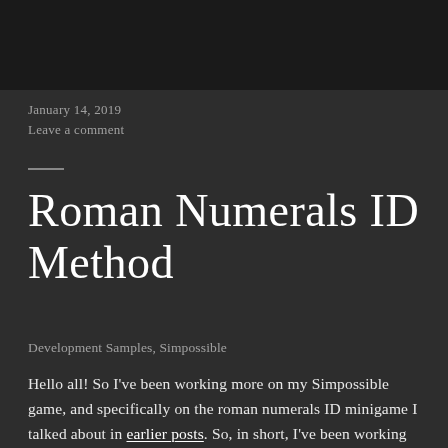[Figure (other): Dark banner image at top of blog post]
January 14, 2019
Leave a comment
Roman Numerals ID Method
Development Samples, Simpossible
Hello all! So I've been working more on my Simpossible game, and specifically on the roman numerals ID minigame I talked about in earlier posts. So, in short, I've been working with the modulus